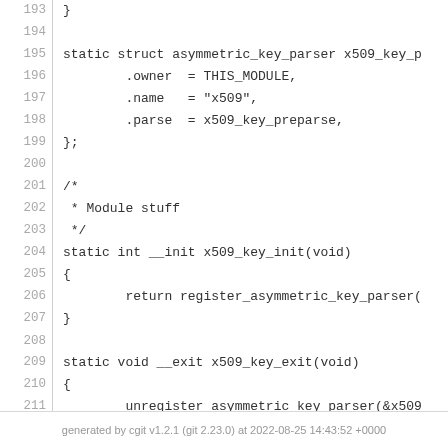Source code listing lines 193-218 of x509 key parser C source file
generated by cgit v1.2.1 (git 2.23.0) at 2022-08-25 14:43:52 +0000